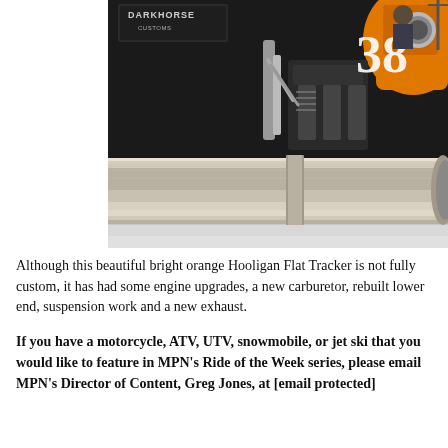[Figure (photo): Close-up photo of a black motorcycle numbered 38 with a chrome/stainless steel exhaust pipe in the foreground. An orange motorcycle is partially visible on the right. A person in a cap stands in the background. A 'Darkhorse' sign is visible in the upper left.]
Although this beautiful bright orange Hooligan Flat Tracker is not fully custom, it has had some engine upgrades, a new carburetor, rebuilt lower end, suspension work and a new exhaust.
If you have a motorcycle, ATV, UTV, snowmobile, or jet ski that you would like to feature in MPN's Ride of the Week series, please email MPN's Director of Content, Greg Jones, at [email protected]